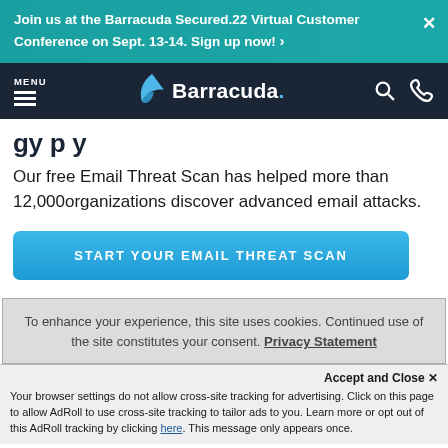Join us at the Barracuda Secured.22 Virtual Customer Conference on Sept. 13-14. Sign up now! ›
[Figure (screenshot): Barracuda navigation bar with menu, logo, search and phone icons on dark navy background]
Our free Email Threat Scan has helped more than 12,000organizations discover advanced email attacks.
START YOUR EMAIL THREAT SCAN
To enhance your experience, this site uses cookies. Continued use of the site constitutes your consent. Privacy Statement
Accept and Close ✕
Your browser settings do not allow cross-site tracking for advertising. Click on this page to allow AdRoll to use cross-site tracking to tailor ads to you. Learn more or opt out of this AdRoll tracking by clicking here. This message only appears once.